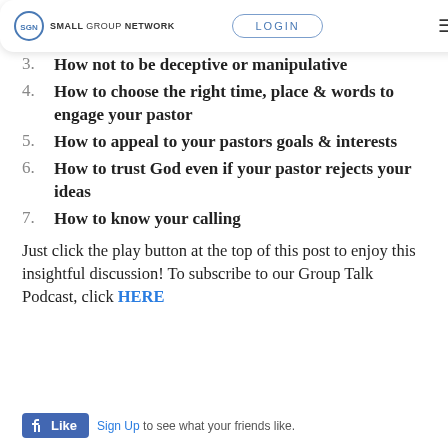SGN SMALL GROUP NETWORK | LOGIN
3. How not to be deceptive or manipulative
4. How to choose the right time, place & words to engage your pastor
5. How to appeal to your pastors goals & interests
6. How to trust God even if your pastor rejects your ideas
7. How to know your calling
Just click the play button at the top of this post to enjoy this insightful discussion! To subscribe to our Group Talk Podcast, click HERE